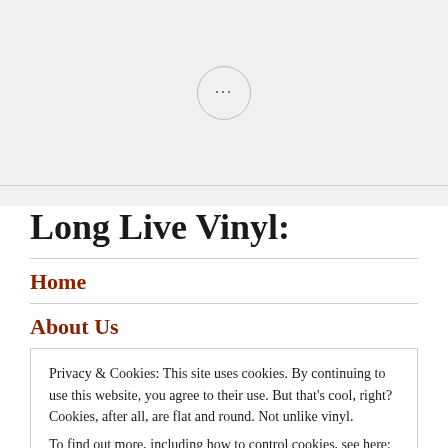[Figure (other): Ellipsis button (three dots) inside a circle on a light grey background]
Long Live Vinyl:
Home
About Us
Privacy & Cookies: This site uses cookies. By continuing to use this website, you agree to their use. But that's cool, right? Cookies, after all, are flat and round. Not unlike vinyl.
To find out more, including how to control cookies, see here: cookie policy
Accept
on Twitter,